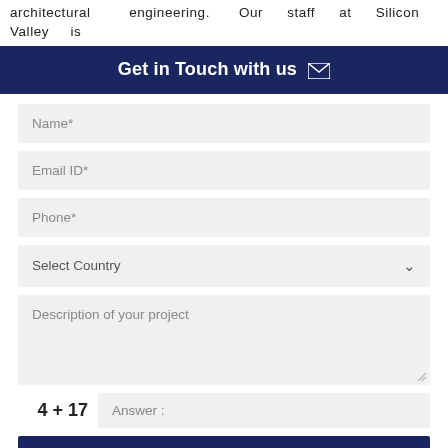architectural engineering. Our staff at Silicon Valley is
Get in Touch with us
Name*
Email ID*
Phone*
Select Country
Description of your project
4 + 17   Answer :
SUBMIT